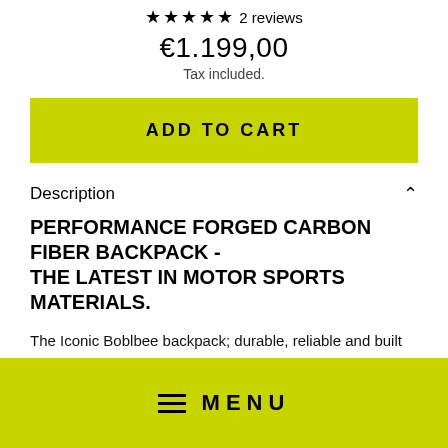★★★★★ 2 reviews
€1.199,00
Tax included.
ADD TO CART
Description
PERFORMANCE FORGED CARBON FIBER BACKPACK - THE LATEST IN MOTOR SPORTS MATERIALS.
The Iconic Boblbee backpack; durable, reliable and built to last. Coming this Spring with a brand new FORGED CARBON FIBER shell. A material which is the latest advances in
MENU